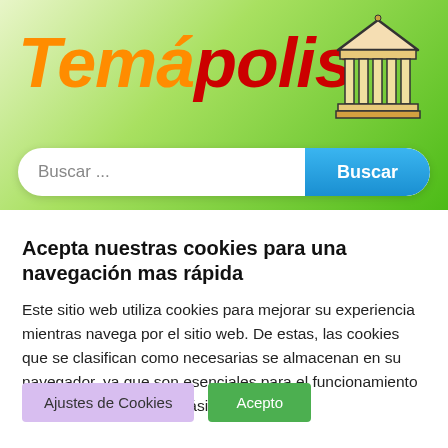[Figure (logo): Temápolis website logo with orange and red italic bold text and a Greek temple icon]
[Figure (screenshot): Search bar with placeholder text 'Buscar ...' and a blue 'Buscar' button]
Acepta nuestras cookies para una navegación mas rápida
Este sitio web utiliza cookies para mejorar su experiencia mientras navega por el sitio web. De estas, las cookies que se clasifican como necesarias se almacenan en su navegador, ya que son esenciales para el funcionamiento de las funcionalidades básicas del ...
Ajustes de Cookies
Acepto